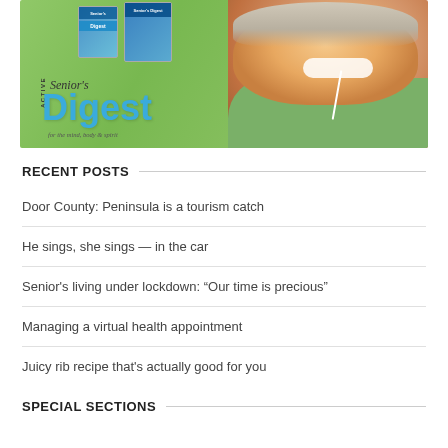[Figure (photo): Magazine cover for Active Senior's Digest showing a smiling older man in a green shirt wearing earbuds, with smaller magazine covers in the upper left area and the publication title 'Active Senior's Digest' with tagline 'for the mind, body & spirit']
RECENT POSTS
Door County: Peninsula is a tourism catch
He sings, she sings — in the car
Senior's living under lockdown: “Our time is precious”
Managing a virtual health appointment
Juicy rib recipe that's actually good for you
SPECIAL SECTIONS